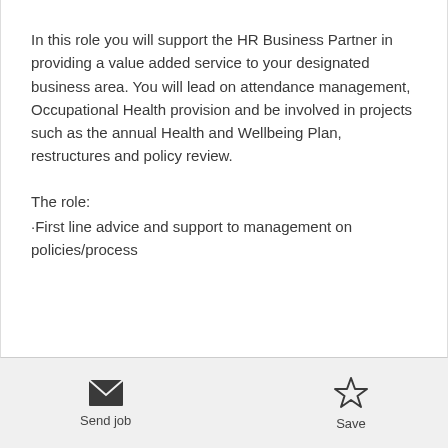In this role you will support the HR Business Partner in providing a value added service to your designated business area. You will lead on attendance management, Occupational Health provision and be involved in projects such as the annual Health and Wellbeing Plan, restructures and policy review.
The role:
·First line advice and support to management on policies/process
Send job | Save